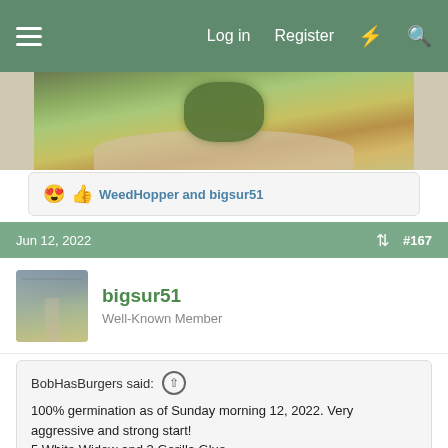Log in   Register
[Figure (photo): Close-up photo of a cannabis bud being held in a hand]
😍 👍 WeedHopper and bigsur51
Jun 12, 2022   #167
bigsur51
Well-Known Member
BobHasBurgers said: ↑
100% germination as of Sunday morning 12, 2022. Very aggressive and strong start!
5 White Widow and 3 Gorilla Glue
During my last second grow, I had one little White Widow that I thought might of been stunted early on but I kept it. It moved up to a 3 gal. pot and I left it there alongside the GDP. I just sampled this beauty (pic with jar below) after
Click to expand...